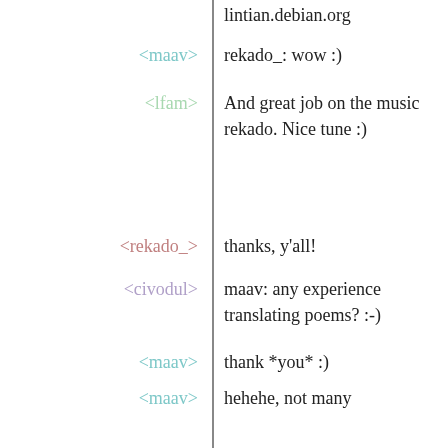lintian.debian.org
<maav> rekado_: wow :)
<lfam> And great job on the music rekado. Nice tune :)
<rekado_> thanks, y'all!
<civodul> maav: any experience translating poems? :-)
<maav> thank *you* :)
<maav> hehehe, not many
<maav> some song
<civodul> this one is kinda hard to translate, because of the idioms
<nckx> Smooth rekado.
<vagrantcish> how do you properly